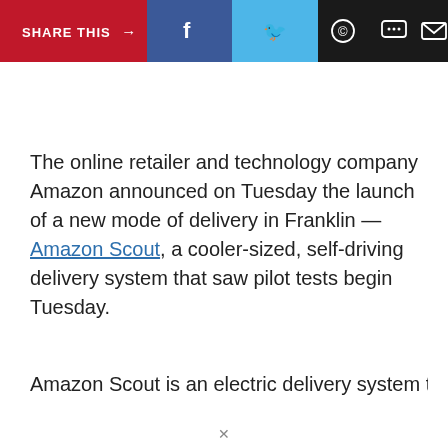SHARE THIS → f (Facebook) (Twitter) (WhatsApp) (Message) (Email)
The online retailer and technology company Amazon announced on Tuesday the launch of a new mode of delivery in Franklin — Amazon Scout, a cooler-sized, self-driving delivery system that saw pilot tests begin Tuesday.
Amazon Scout is an electric delivery system that uses...